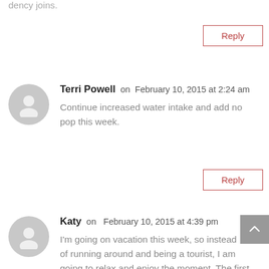dency joins.
Reply
Terri Powell on February 10, 2015 at 2:24 am
Continue increased water intake and add no pop this week.
Reply
Katy on February 10, 2015 at 4:39 pm
I'm going on vacation this week, so instead of running around and being a tourist, I am going to relax and enjoy the moment. The first thing I did to achieve that is cancel my trip to Disneyworld, in favor of some beach time and